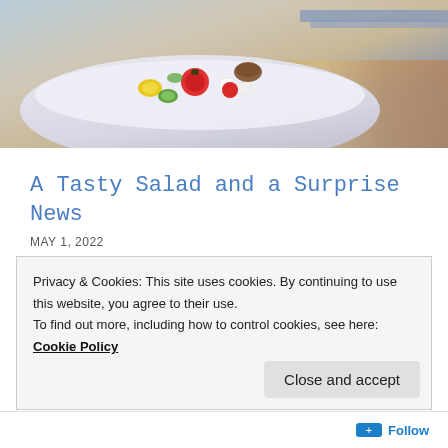[Figure (photo): A bowl of salad with tomatoes, cucumber, corn and feta cheese on a wooden surface]
A Tasty Salad and a Surprise News
MAY 1, 2022
[Figure (other): Five green star rating icons followed by a blue info circle icon]
Just a picture of a tasty salad. Ingredients: Tomatoes, cucumber, corn and feta cheese. This is how my fiancé
Privacy & Cookies: This site uses cookies. By continuing to use this website, you agree to their use.
To find out more, including how to control cookies, see here: Cookie Policy
Close and accept